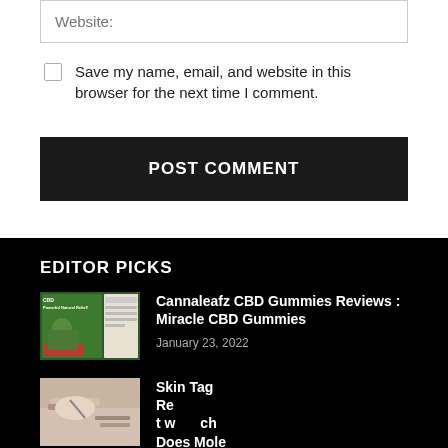Website:
Save my name, email, and website in this browser for the next time I comment.
POST COMMENT
EDITOR PICKS
Cannaleafz CBD Gummies Reviews : Miracle CBD Gummies
January 23, 2022
[Figure (photo): CBD product thumbnail showing woman with green CBD gummies]
Skin Tag Removal at What Does Mole Remover Cost?
[Figure (photo): Skin tag removal procedure thumbnail]
Share Post